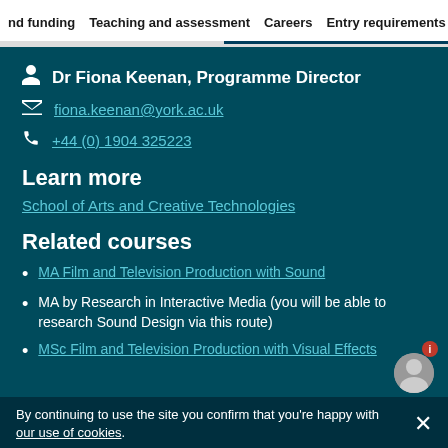nd funding   Teaching and assessment   Careers   Entry requirements
Dr Fiona Keenan, Programme Director
fiona.keenan@york.ac.uk
+44 (0) 1904 325223
Learn more
School of Arts and Creative Technologies
Related courses
MA Film and Television Production with Sound
MA by Research in Interactive Media (you will be able to research Sound Design via this route)
MSc Film and Television Production with Visual Effects
By continuing to use the site you confirm that you're happy with our use of cookies.